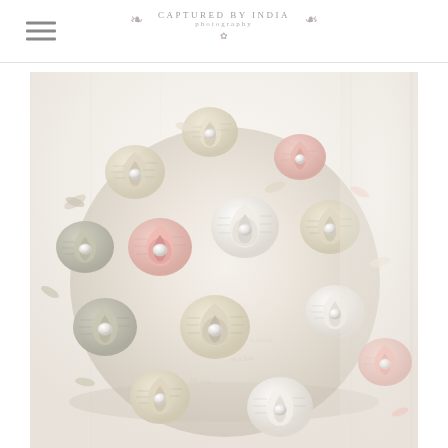Captured by India Photography — navigation header with hamburger menu and logo
[Figure (photo): Close-up photograph of a decorative wedding bouquet made from rolled paper roses (book pages) in white, cream, blush pink, and sage green colors, with pearl centers on each rose, arranged in a round ball shape. The background is soft white/cream out-of-focus fabric or curtains.]